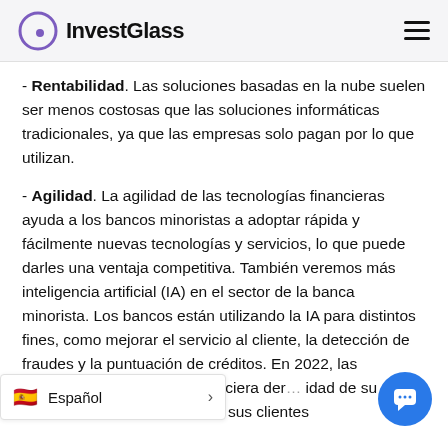InvestGlass
- Rentabilidad. Las soluciones basadas en la nube suelen ser menos costosas que las soluciones informáticas tradicionales, ya que las empresas solo pagan por lo que utilizan.
- Agilidad. La agilidad de las tecnologías financieras ayuda a los bancos minoristas a adoptar rápida y fácilmente nuevas tecnologías y servicios, lo que puede darles una ventaja competitiva. También veremos más inteligencia artificial (IA) en el sector de la banca minorista. Los bancos están utilizando la IA para distintos fines, como mejorar el servicio al cliente, la detección de fraudes y la puntuación de créditos. En 2022, las empresas de tecnología financiera der... idad de su negocio pro... r real para que sus clientes